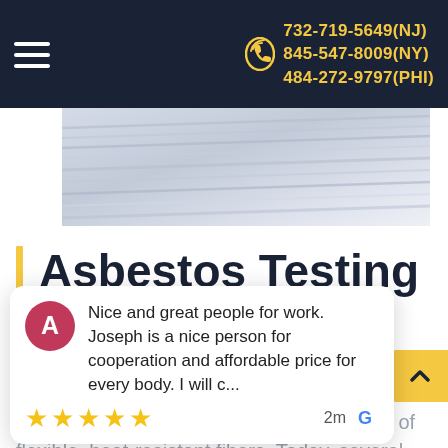732-719-5649(NJ) 845-547-8009(NY) 484-272-9797(PHI)
[Figure (photo): Close-up of white pages of a book or stack of papers, fanned out with a blue-grey tone.]
Asbestos Testing in New Jersey
Asbestos is a group of minerals composed of flexible, heat-resistant fibers. Today, several regulations have limited its use due
Nice and great people for work. Joseph is a nice person for cooperation and affordable price for every body. I will c...
2m